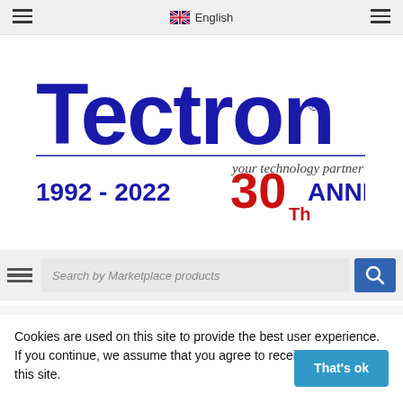English
[Figure (logo): Tectron logo with tagline 'your technology partner' and '1992 - 2022 30th ANNIVERSARY']
Search by Marketplace products
Sicurezza e Automazione
Cookies are used on this site to provide the best user experience. If you continue, we assume that you agree to receive cookies from this site.